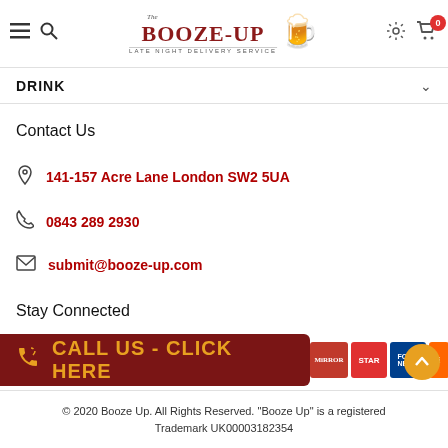Booze-Up — The Late Night Delivery Service
DRINK
Contact Us
141-157 Acre Lane London SW2 5UA
0843 289 2930
submit@booze-up.com
Stay Connected
[Figure (other): Social media icons: Facebook, Twitter, Instagram]
[Figure (other): Call us - Click Here CTA button with phone icon, and media logos: Mirror, Star, Fox News, i, LBC]
© 2020 Booze Up. All Rights Reserved. "Booze Up" is a registered Trademark UK00003182354